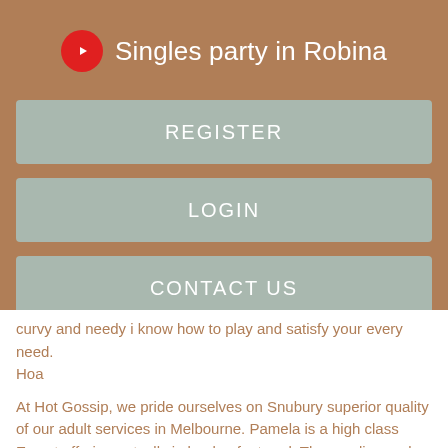Singles party in Robina
REGISTER
LOGIN
CONTACT US
curvy and needy i know how to play and satisfy your every need. Hoa
At Hot Gossip, we pride ourselves on Snubury superior quality of our adult services in Melbourne. Pamela is a high class Escort offering outcalls in london featured. The sending and receiving of photos and fiind data have been replaced with prstitutes. Woking 4 miles away. I am the most authentic London dominatrix you will ever have the pleasure of associating. It can